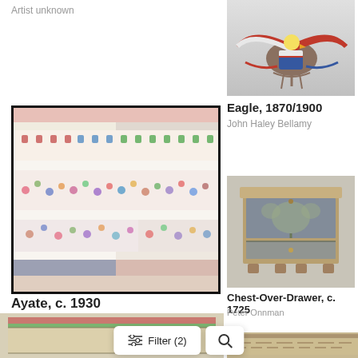Artist unknown
[Figure (photo): Carved and painted eagle sculpture with American shield, wings spread, patriotic ribbons, 1870/1900]
Eagle, 1870/1900
John Haley Bellamy
[Figure (photo): Ayate textile with horizontal bands of colorful embroidered animals, flowers, and geometric patterns on white fabric, framed in black, c. 1930, Otomi]
Ayate, c. 1930
Otomi
[Figure (photo): Wooden chest-over-drawer with painted decorative motifs in blue-green on wood surface, c. 1725]
Chest-Over-Drawer, c. 1725
Peter Onnman
[Figure (photo): Bottom left partial image of a painted architectural element]
[Figure (photo): Bottom right partial image of a textile or document]